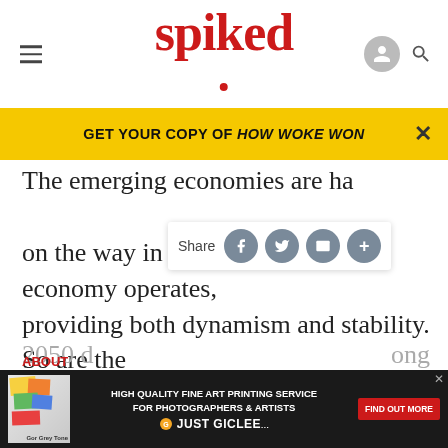spiked
GET YOUR COPY OF HOW WOKE WON
The emerging emerging economies are having a profound effect on the way in which the global economy operates, providing both dynamism and stability. So are the emerging economies set to replace the old G7 as world leaders, both economically and politically? While the G7 still dominate the global economy, the BRICs are closing the gap fast and are even now comparable in size to all but the largest member of the G7, the United States. Goldman Sachs forecast that by 2050 d... ong
ABOUT
[Figure (screenshot): High Quality Fine Art Printing Service advertisement banner at bottom of page]